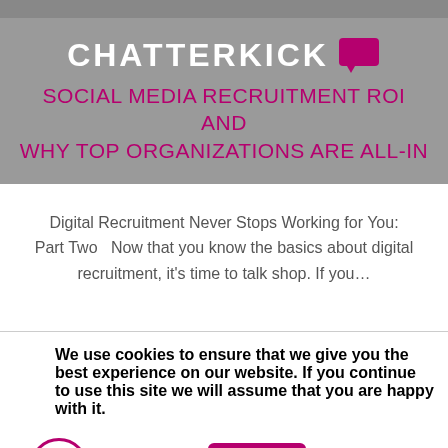[Figure (logo): Chatterkick logo with white text and pink speech bubble icon on grey background]
SOCIAL MEDIA RECRUITMENT ROI AND WHY TOP ORGANIZATIONS ARE ALL-IN
Digital Recruitment Never Stops Working for You: Part Two  Now that you know the basics about digital recruitment, it's time to talk shop. If you…
We use cookies to ensure that we give you the best experience on our website. If you continue to use this site we will assume that you are happy with it.